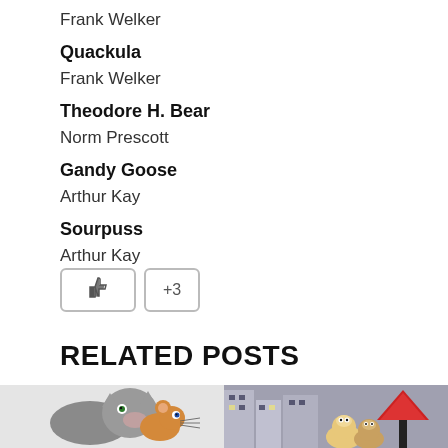Frank Welker
Quackula
Frank Welker
Theodore H. Bear
Norm Prescott
Gandy Goose
Arthur Kay
Sourpuss
Arthur Kay
[Figure (other): Like/thumbs-up button and +3 social reaction button]
RELATED POSTS
[Figure (photo): Tom and Jerry cartoon image on the left, animated characters with city scene and red arrow on the right]